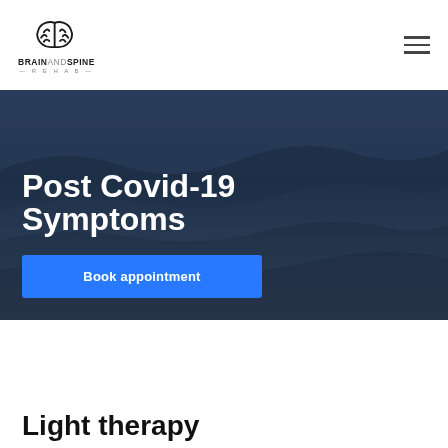[Figure (logo): Brain and Spine Rehab logo with brain icon and text]
[Figure (photo): Dark blue ocean/mountain background hero image]
Post Covid-19 Symptoms
Book appointment
Light therapy